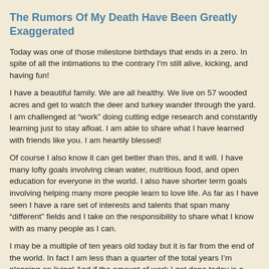The Rumors Of My Death Have Been Greatly Exaggerated
Today was one of those milestone birthdays that ends in a zero. In spite of all the intimations to the contrary I'm still alive, kicking, and having fun!
I have a beautiful family. We are all healthy. We live on 57 wooded acres and get to watch the deer and turkey wander through the yard. I am challenged at “work” doing cutting edge research and constantly learning just to stay afloat. I am able to share what I have learned with friends like you. I am heartily blessed!
Of course I also know it can get better than this, and it will. I have many lofty goals involving clean water, nutritious food, and open education for everyone in the world. I also have shorter term goals involving helping many more people learn to love life. As far as I have seen I have a rare set of interests and talents that span many “different” fields and I take on the responsibility to share what I know with as many people as I can.
I may be a multiple of ten years old today but it is far from the end of the world. In fact I am less than a quarter of the total years I’m planning on living! And if the amount of work I got done today is a sign of what my future holds then it shan't be long until those worldly goals are accomplished and I’m looking towards the heavens in earnest.
We all are talented and gifted.
What are you doing with the time allotted to you?